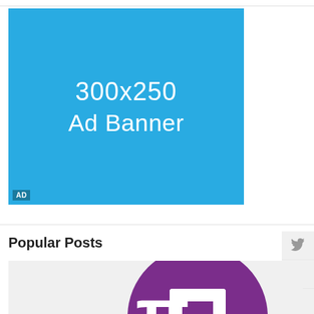[Figure (other): 300x250 Ad Banner placeholder — blue rectangle with white text reading '300x250 Ad Banner' and an 'AD' label in bottom-left corner]
Popular Posts
[Figure (logo): Purple circle logo with white symbol resembling the Pi Network logo, partially visible at bottom of page]
[Figure (other): Social sharing sidebar with Twitter bird icon, Facebook f icon, and an up-arrow/caret icon]